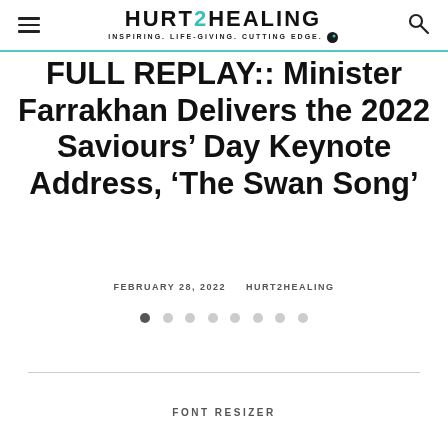HURT2HEALING — INSPIRING. LIFE-GIVING. CUTTING EDGE.
FULL REPLAY:: Minister Farrakhan Delivers the 2022 Saviours' Day Keynote Address, 'The Swan Song'
FEBRUARY 28, 2022   HURT2HEALING
• • • • • • • •
FONT RESIZER